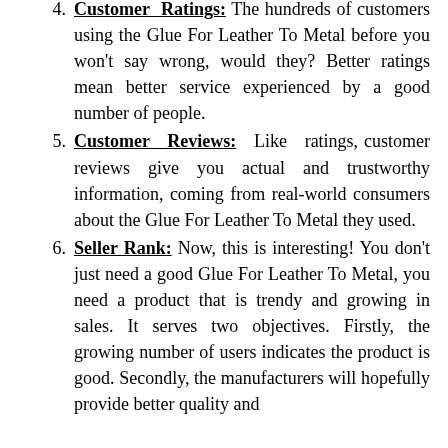Customer Ratings: The hundreds of customers using the Glue For Leather To Metal before you won't say wrong, would they? Better ratings mean better service experienced by a good number of people.
Customer Reviews: Like ratings, customer reviews give you actual and trustworthy information, coming from real-world consumers about the Glue For Leather To Metal they used.
Seller Rank: Now, this is interesting! You don't just need a good Glue For Leather To Metal, you need a product that is trendy and growing in sales. It serves two objectives. Firstly, the growing number of users indicates the product is good. Secondly, the manufacturers will hopefully provide better quality and